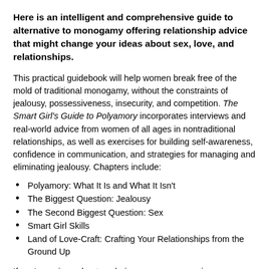Here is an intelligent and comprehensive guide to alternative to monogamy offering relationship advice that might change your ideas about sex, love, and relationships.
This practical guidebook will help women break free of the mold of traditional monogamy, without the constraints of jealousy, possessiveness, insecurity, and competition. The Smart Girl's Guide to Polyamory incorporates interviews and real-world advice from women of all ages in nontraditional relationships, as well as exercises for building self-awareness, confidence in communication, and strategies for managing and eliminating jealousy. Chapters include:
Polyamory: What It Is and What It Isn't
The Biggest Question: Jealousy
The Second Biggest Question: Sex
Smart Girl Skills
Land of Love-Craft: Crafting Your Relationships from the Ground Up
If you're curious about exploring group sex, opening up your current monogamous relationship, or ready to “come out” as polyamorous, this book covers it all!
Whether you're a seasoned graduate, a timid freshman, or